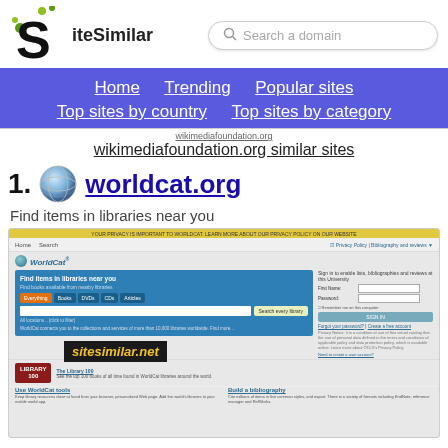SiteSimilar — Search a domain
Home  Trending  Popular sites  Top sites by country  Top sites by category
wikimediafoundation.org similar sites
1. worldcat.org — Find items in libraries near you
[Figure (screenshot): Screenshot of worldcat.org website showing the WorldCat search interface with 'Find items in libraries near you' heading, search tabs, input field, sign-in panel, Library 100 section, and Use WorldCat tools section. Watermark reads sitesimilar.net]